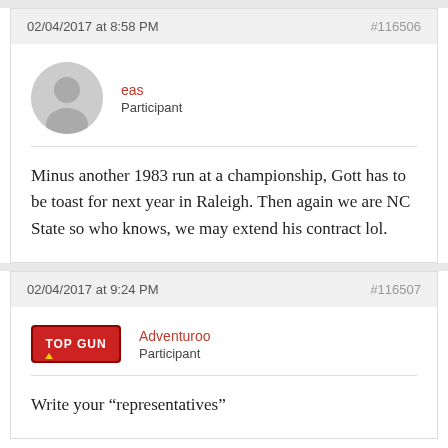02/04/2017 at 8:58 PM   #116506
eas
Participant
Minus another 1983 run at a championship, Gott has to be toast for next year in Raleigh. Then again we are NC State so who knows, we may extend his contract lol.
02/04/2017 at 9:24 PM   #116507
Adventuroo
Participant
Write your “representatives”